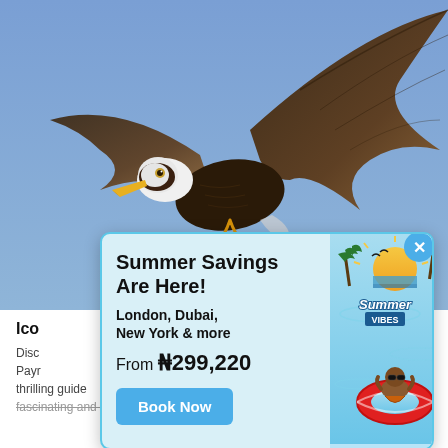[Figure (photo): Bald eagle in flight against blue sky background]
[Figure (infographic): Summer Savings travel advertisement popup with pool scene background, Summer VIBES logo, baby in float ring, Book Now button. Text: Summer Savings Are Here! London, Dubai, New York & more. From ₦299,220]
Ico
Disc
Payr
thrilling guide
fascinating and exotic creatures.